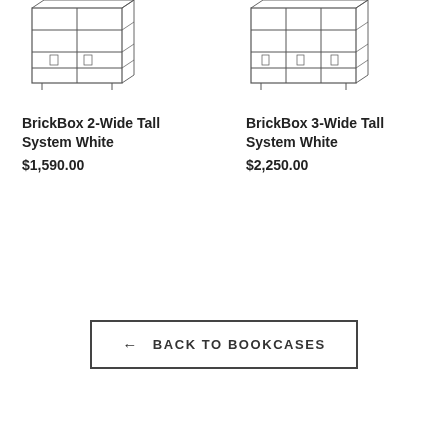[Figure (illustration): Line drawing illustration of BrickBox 2-Wide Tall System bookcase unit]
BrickBox 2-Wide Tall System White
$1,590.00
[Figure (illustration): Line drawing illustration of BrickBox 3-Wide Tall System bookcase unit]
BrickBox 3-Wide Tall System White
$2,250.00
← BACK TO BOOKCASES